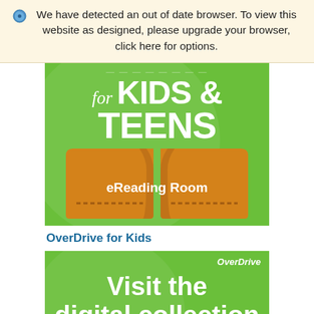We have detected an out of date browser. To view this website as designed, please upgrade your browser, click here for options.
[Figure (illustration): Green banner image for OverDrive eReading Room for Kids & Teens, with white bold text 'for KIDS & TEENS' and an orange open book graphic with 'eReading Room' text on the book.]
OverDrive for Kids
[Figure (illustration): Green OverDrive banner with white bold text 'Visit the digital collection' and OverDrive brand name in italic top right corner.]